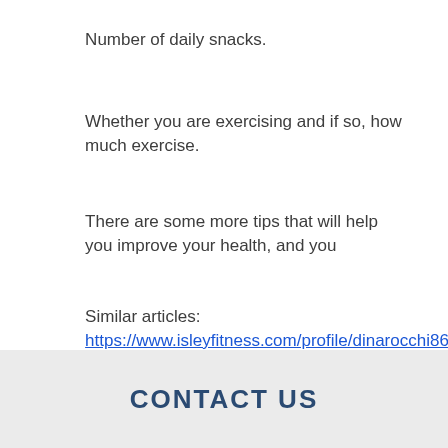Number of daily snacks.
Whether you are exercising and if so, how much exercise.
There are some more tips that will help you improve your health, and you
Similar articles:
https://www.isleyfitness.com/profile/dinarocchi86408/profile
https://www.hereforsudbury.ca/profile/tannerlucian18147/profile
https://www.financeshmoe.com/profile/thomasmikell113605/profile
https://www.theselflovingmummabytarabakic.com/profile/dannycassarubias76918/profile
CONTACT US